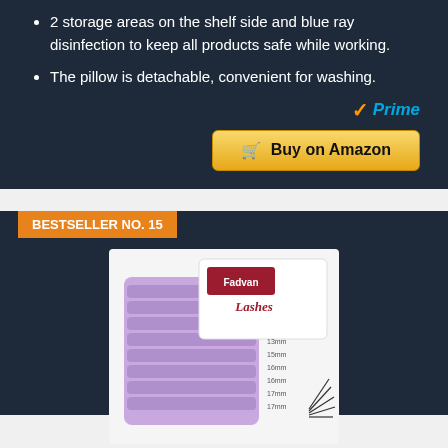2 storage areas on the shelf side and blue ray disinfection to keep all products safe while working.
The pillow is detachable, convenient for washing.
✓Prime
🛒 Buy on Amazon
BESTSELLER NO. 15
[Figure (photo): Product photo of Fadvan Lashes eyelash extension tray with purple lashes arranged in rows, showing a lash palette with brand logo]